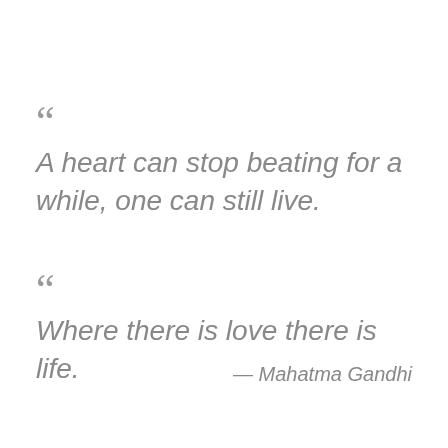“ A heart can stop beating for a while, one can still live.
“ Where there is love there is life.
— Mahatma Gandhi